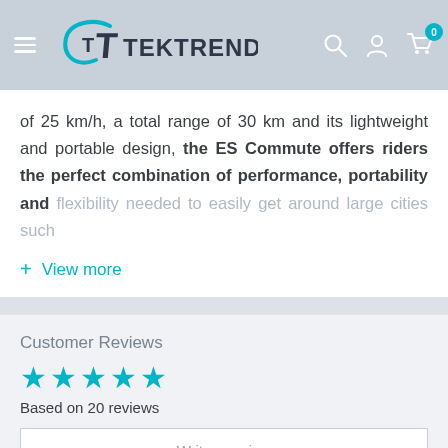TekTrendy
of 25 km/h, a total range of 30km and its lightweight and portable design, the ES Commute offers riders the perfect combination of performance, portability and flexibility needed to easily get around large cities such
+ View more
Customer Reviews
Based on 20 reviews
Write a review
Ask a question